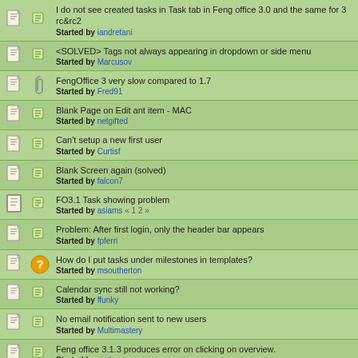I do not see created tasks in Task tab in Feng office 3.0 and the same for 3 rc&rc2 — Started by iandretani
<SOLVED> Tags not always appearing in dropdown or side menu — Started by Marcusov
FengOffice 3 very slow compared to 1.7 — Started by Fred91
Blank Page on Edit ant item - MAC — Started by netgifted
Can't setup a new first user — Started by Curtisf
Blank Screen again (solved) — Started by falcon7
FO3.1 Task showing problem — Started by asiams « 1 2 »
Problem: After first login, only the header bar appears — Started by fpferri
How do I put tasks under milestones in templates? — Started by msoutherton
Calendar sync still not working? — Started by ffunky
No email notification sent to new users — Started by Multimastery
Feng office 3.1.3 produces error on clicking on overview. — Started by sintj